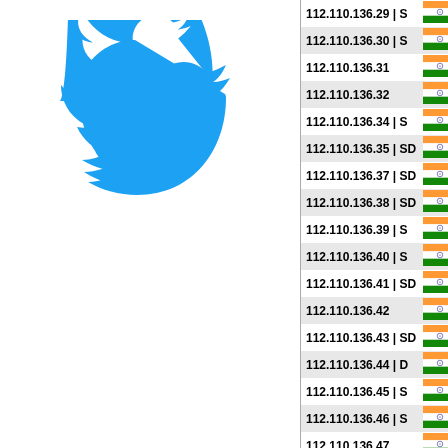[Figure (logo): Twitter bird logo in blue]
| IP Address | Flag |
| --- | --- |
| 112.110.136.29 | S | IN |
| 112.110.136.30 | S | IN |
| 112.110.136.31 | IN |
| 112.110.136.32 | IN |
| 112.110.136.34 | S | IN |
| 112.110.136.35 | SD | IN |
| 112.110.136.37 | SD | IN |
| 112.110.136.38 | SD | IN |
| 112.110.136.39 | S | IN |
| 112.110.136.40 | S | IN |
| 112.110.136.41 | SD | IN |
| 112.110.136.42 | IN |
| 112.110.136.43 | SD | IN |
| 112.110.136.44 | D | IN |
| 112.110.136.45 | S | IN |
| 112.110.136.46 | S | IN |
| 112.110.136.47 | IN |
| 112.110.136.48 | SD | IN |
| 112.110.136.49 | SD | IN |
| 112.110.136.50 | S | IN |
| 112.110.136.51 | IN |
| 112.110.136.54 | SD | IN |
| 112.110.136.55 | S | IN |
| 112.110.136.58 | SD | IN |